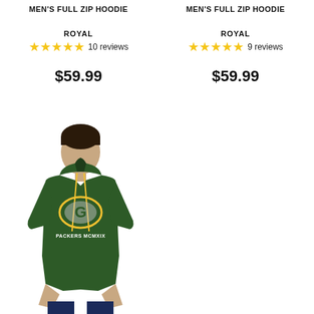MEN'S FULL ZIP HOODIE
ROYAL
★★★★★ 10 reviews
$59.99
MEN'S FULL ZIP HOODIE
ROYAL
★★★★★ 9 reviews
$59.99
[Figure (photo): Man wearing a green Green Bay Packers pullover hoodie with yellow drawstrings, Packers G logo on chest, and PACKERS MCMXIX text below the logo]